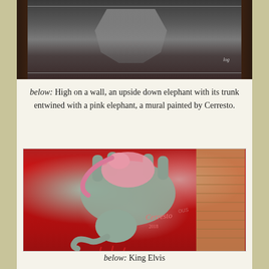[Figure (photo): Top portion of a black and white street art photograph showing a figure on a wall]
below: High on a wall, an upside down elephant with its trunk entwined with a pink elephant, a mural painted by Cerresto.
[Figure (photo): Photo of a colorful street mural on a red wall depicting an upside down grey elephant with its trunk entwined with a pink elephant, signed Cerresto]
below: King Elvis